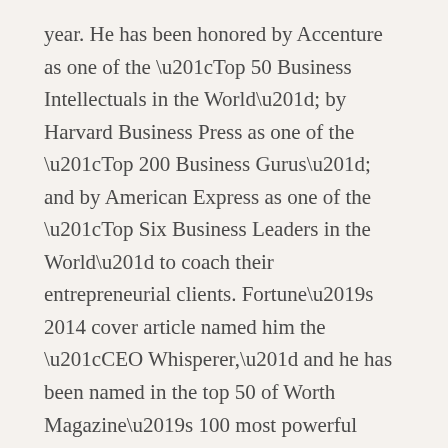year. He has been honored by Accenture as one of the “Top 50 Business Intellectuals in the World”; by Harvard Business Press as one of the “Top 200 Business Gurus”; and by American Express as one of the “Top Six Business Leaders in the World” to coach their entrepreneurial clients. Fortune’s 2014 cover article named him the “CEO Whisperer,” and he has been named in the top 50 of Worth Magazine’s 100 most powerful people in global finance for two consecutive years.
Through his partnership with the non-profit organization Feeding America, Tony Robbins has provided more than 325 million meals in the last 3 years to those in need. He is on track to provide one billion meals in the next 7 years. He has also initiated programs in more than 1,500 schools, 700 prisons, and